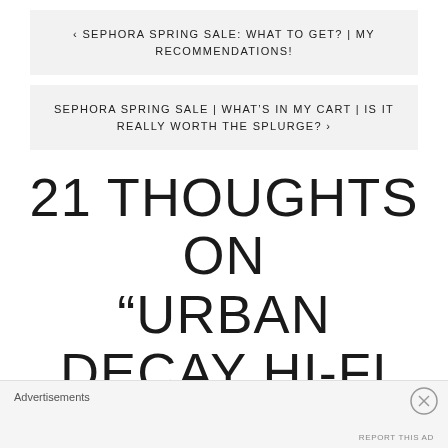< SEPHORA SPRING SALE: WHAT TO GET? | MY RECOMMENDATIONS!
SEPHORA SPRING SALE | WHAT'S IN MY CART | IS IT REALLY WORTH THE SPLURGE? >
21 THOUGHTS ON “URBAN DECAY HI-FI SHINE ULTRA CUSHION LIP GLOSS | REVIEW +
Advertisements